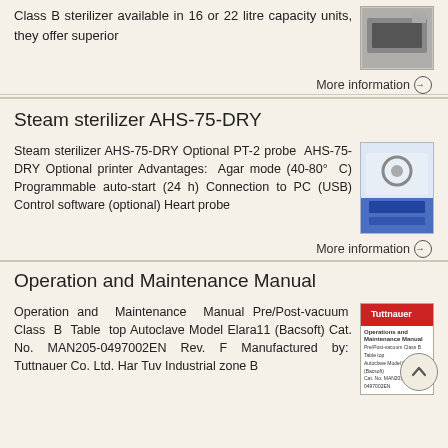Class B sterilizer available in 16 or 22 litre capacity units, they offer superior
More information →
Steam sterilizer AHS-75-DRY
Steam sterilizer AHS-75-DRY Optional PT-2 probe AHS-75-DRY Optional printer Advantages: Agar mode (40-80° C) Programmable auto-start (24 h) Connection to PC (USB) Control software (optional) Heart probe
More information →
Operation and Maintenance Manual
Operation and Maintenance Manual Pre/Post-vacuum Class B Table top Autoclave Model Elara11 (Bacsoft) Cat. No. MAN205-0497002EN Rev. F Manufactured by: Tuttnauer Co. Ltd. Har Tuv Industrial zone B